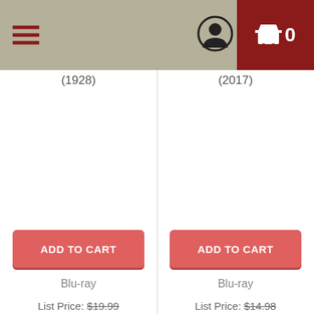[Figure (screenshot): Navigation bar with hamburger menu icon on left, user profile icon in center-right, and red shopping cart with '0' count on far right]
(1928)
(2017)
ADD TO CART
ADD TO CART
Blu-ray
Blu-ray
List Price: $19.99
List Price: $14.98
Price: $16.99
Price: $12.73
You Save: $3.00 (15%)
You Save: $2.25 (15%)
This website uses cookies
We use cookies to personalise content and ads, to provide social media features and to analyse our traffic. We also share information about your use of our site with our social media, advertising and analytics partners who may combine it with other information that you've provided to them or that they've collected from your use of their services.
OK
Show details